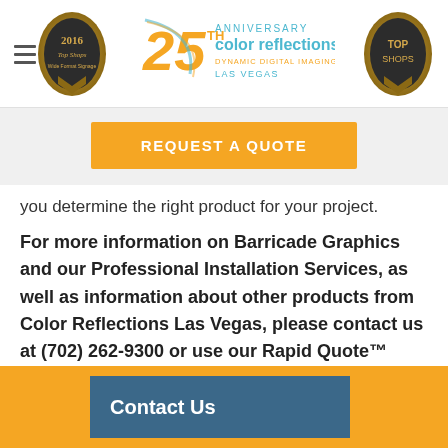[Figure (logo): Page header with hamburger menu, 2016 Top Shops Wide Format Signage badge, 25th Anniversary Color Reflections Dynamic Digital Imaging Las Vegas logo, and Top Shops badge]
[Figure (other): Orange REQUEST A QUOTE button on grey background]
you determine the right product for your project.
For more information on Barricade Graphics and our Professional Installation Services, as well as information about other products from Color Reflections Las Vegas, please contact us at (702) 262-9300 or use our Rapid Quote™ Contact Form below.
Contact Us